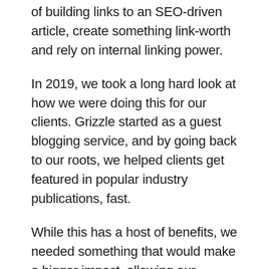of building links to an SEO-driven article, create something link-worth and rely on internal linking power.
In 2019, we took a long hard look at how we were doing this for our clients. Grizzle started as a guest blogging service, and by going back to our roots, we helped clients get featured in popular industry publications, fast.
While this has a host of benefits, we needed something that would make a bigger impact, allowing our outreach efforts to be amplified by the people we were connecting with.